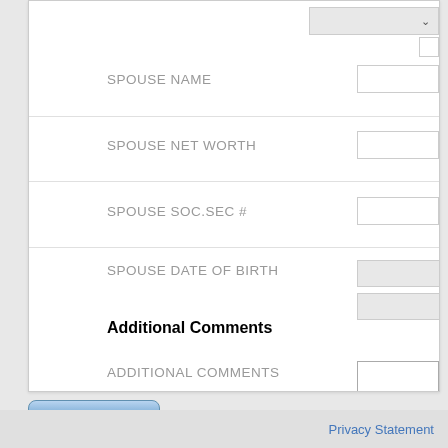SPOUSE NAME
SPOUSE NET WORTH
SPOUSE SOC.SEC #
SPOUSE DATE OF BIRTH
Additional Comments
ADDITIONAL COMMENTS
Submit
Privacy Statement